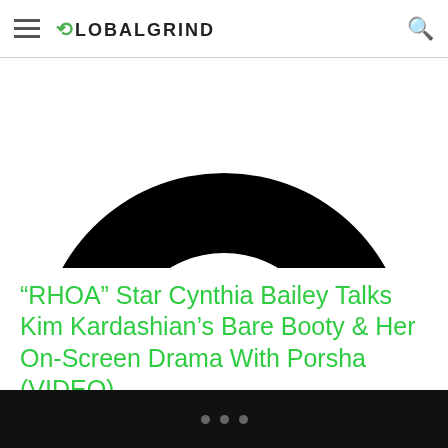GLOBALGRIND
[Figure (photo): Partial black and white close-up photo, showing what appears to be a circular swirl shape against a white background, cropped so only the top portion is visible.]
“RHOA” Star Cynthia Bailey Talks Kim Kardashian’s Bare Booty & Her On-Screen Drama With Porsha (VIDEO)